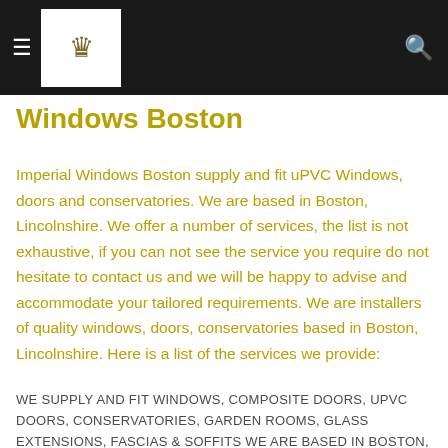Windows Boston
Windows Boston
Imperial Windows Boston supply and fit uPVC Windows, doors and conservatories. We are based in Boston, Lincolnshire. We offer a number of services, the list is not exhaustive, if you can not see the service you require do not hesitate to contact us and we will be happy to advise and accommodate your tailored requirements. We are installers of quality windows, doors, conservatories based in Boston, Lincolnshire. Here is a list of the services we provide:
WE SUPPLY AND FIT WINDOWS, COMPOSITE DOORS, UPVC DOORS, CONSERVATORIES, GARDEN ROOMS, GLASS EXTENSIONS, FASCIAS & SOFFITS WE ARE BASED IN BOSTON, LINCOLNSHIRE AND TRAVEL